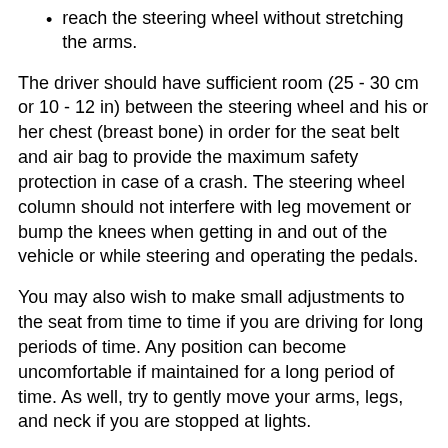reach the steering wheel without stretching the arms.
The driver should have sufficient room (25 - 30 cm or 10 - 12 in) between the steering wheel and his or her chest (breast bone) in order for the seat belt and air bag to provide the maximum safety protection in case of a crash. The steering wheel column should not interfere with leg movement or bump the knees when getting in and out of the vehicle or while steering and operating the pedals.
You may also wish to make small adjustments to the seat from time to time if you are driving for long periods of time. Any position can become uncomfortable if maintained for a long period of time. As well, try to gently move your arms, legs, and neck if you are stopped at lights.